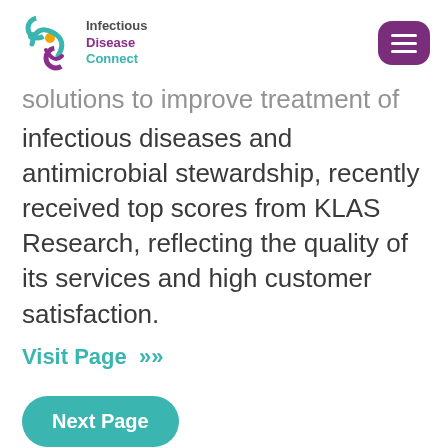Infectious Disease Connect
solutions to improve treatment of infectious diseases and antimicrobial stewardship, recently received top scores from KLAS Research, reflecting the quality of its services and high customer satisfaction.
Visit Page >>
Next Page